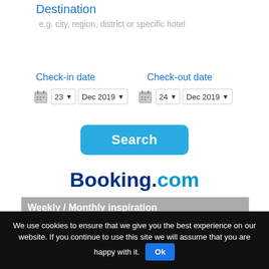Destination
e.g. city, region, district or specific hotel
Check-in date
Check-out date
23 ▾  Dec 2019 ▾   24 ▾  Dec 2019 ▾
Search
[Figure (logo): Booking.com logo with dark blue 'Booking' and teal '.com']
Weekly / Monthly inspiration
- Do you like the amazing images and videos about diffrent countrys, diffrent culture, diffrent people?
- It is inspire you?
- Do you want to know more about this wordwide places?
Then you can choose our most inspiring weekly
We use cookies to ensure that we give you the best experience on our website. If you continue to use this site we will assume that you are happy with it.  Ok